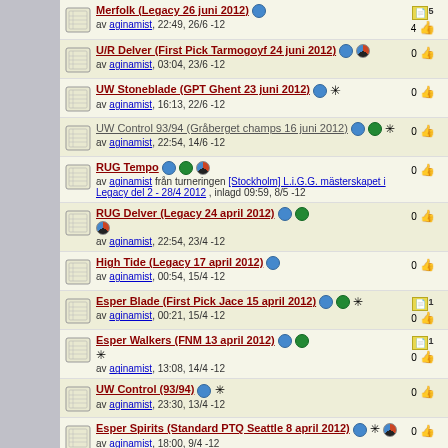Merfolk (Legacy 26 juni 2012) av aginamist, 22:49, 26/6 -12 | 4 votes, 5 notes
U/R Delver (First Pick Tarmogoyf 24 juni 2012) av aginamist, 03:04, 23/6 -12 | 0 votes
UW Stoneblade (GPT Ghent 23 juni 2012) av aginamist, 16:13, 22/6 -12 | 0 votes
UW Control 93/94 (Gråberget champs 16 juni 2012) av aginamist, 22:54, 14/6 -12 | 0 votes
RUG Tempo av aginamist från turneringen [Stockholm] L.i.G.G. mästerskapet i Legacy del 2 - 28/4 2012, inlagd 09:59, 8/5 -12 | 0 votes
RUG Delver (Legacy 24 april 2012) av aginamist, 22:54, 23/4 -12 | 0 votes
High Tide (Legacy 17 april 2012) av aginamist, 00:54, 15/4 -12 | 0 votes
Esper Blade (First Pick Jace 15 april 2012) av aginamist, 00:21, 15/4 -12 | 0 votes, 1 note
Esper Walkers (FNM 13 april 2012) av aginamist, 13:08, 14/4 -12 | 0 votes, 1 note
UW Control (93/94) av aginamist, 23:30, 13/4 -12 | 0 votes
Esper Spirits (Standard PTQ Seattle 8 april 2012) av aginamist, 18:00, 9/4 -12 | 0 votes